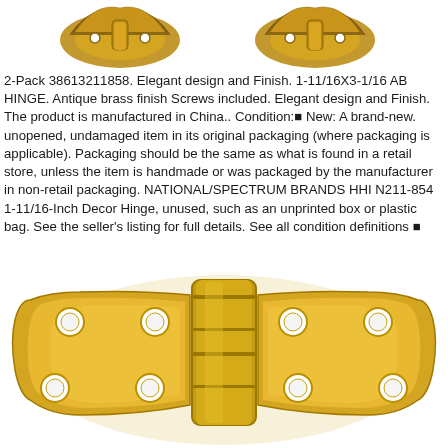[Figure (photo): Top portion of antique brass decorative hinges with ornate profile, gold/brown finish, viewed from above against white background]
2-Pack 38613211858. Elegant design and Finish. 1-11/16X3-1/16 AB HINGE. Antique brass finish Screws included. Elegant design and Finish. The product is manufactured in China.. Condition:■ New: A brand-new. unopened, undamaged item in its original packaging (where packaging is applicable). Packaging should be the same as what is found in a retail store, unless the item is handmade or was packaged by the manufacturer in non-retail packaging. NATIONAL/SPECTRUM BRANDS HHI N211-854 1-11/16-Inch Decor Hinge, unused, such as an unprinted box or plastic bag. See the seller's listing for full details. See all condition definitions ■ Brand: ■ NATIONAL/SPECTRUM BRANDS HHI ■ MPN: ■ N211854■ UPC: ■ 038613211858 ■.
[Figure (photo): Close-up of an antique brass decorative hinge, gold colored, with ornate rounded ends, multiple screw holes, and a central barrel/knuckle joint, photographed against white background]